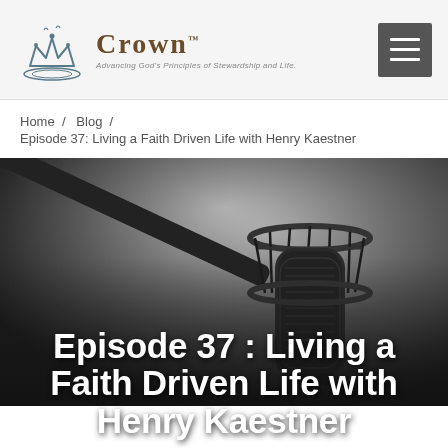Crown — Advancing God's Principles of Stewardship and Life
Home / Blog / Episode 37: Living a Faith Driven Life with Henry Kaestner
[Figure (photo): Black and white photo of a studio condenser microphone on a shock mount, close-up view from below]
Episode 37 : Living a Faith Driven Life with Henry Kaestner